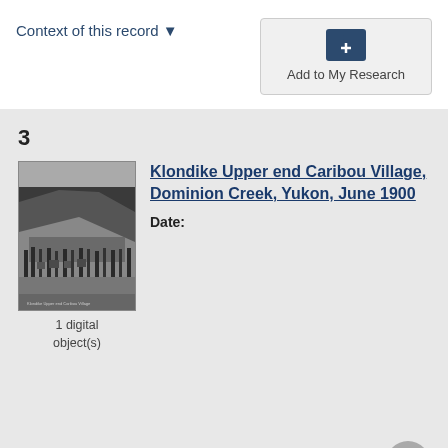Context of this record ▼
[Figure (screenshot): Add to My Research button with folder-plus icon]
3
[Figure (photo): Black and white historical photograph of Klondike Upper end Caribou Village, Dominion Creek, Yukon, June 1900. Shows a hillside settlement with trees and buildings visible.]
1 digital object(s)
Klondike Upper end Caribou Village, Dominion Creek, Yukon, June 1900
Date: